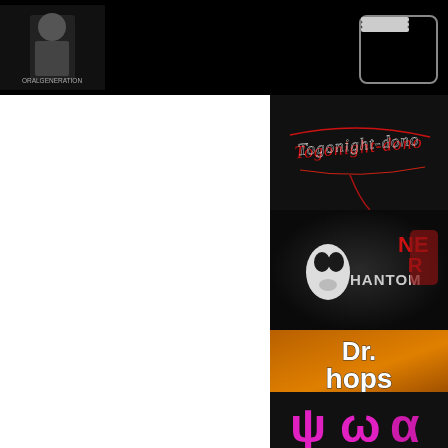[Figure (screenshot): Navigation bar with logo image on left and hamburger menu button on right, black background]
[Figure (logo): Togonight-dono stylized red and white handwritten logo on dark background]
[Figure (logo): Hantom Nerve logo with white phantom mask and red NE letters on dark background]
[Figure (logo): Ultraprime Secundus logo with glowing figure on red/dark background]
[Figure (logo): Dr. Hops logo with white bold text on orange/brown background]
[Figure (logo): Partial logo visible at bottom, pink/magenta characters on dark background]